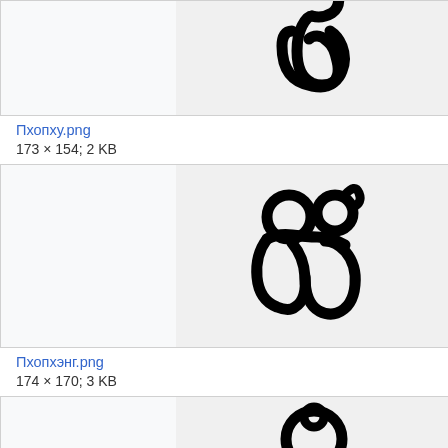[Figure (illustration): Myanmar/Khmer script character rendered in bold black on light gray background, partially cropped at top]
Пхопху.png
173 × 154; 2 KB
[Figure (illustration): Myanmar/Khmer script character resembling two loops with a curl on top, bold black on light gray background]
Пхопхэнг.png
174 × 170; 3 KB
[Figure (illustration): Myanmar/Khmer script character with circular loop element, bold black on light gray background, partially cropped at bottom]